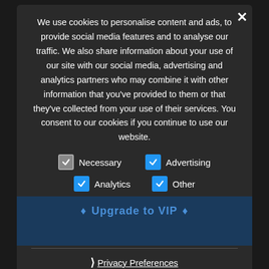We use cookies to personalise content and ads, to provide social media features and to analyse our traffic. We also share information about your use of our site with our social media, advertising and analytics partners who may combine it with other information that you've provided to them or that they've collected from your use of their services. You consent to our cookies if you continue to use our website.
Necessary (checked gray), Advertising (checked blue), Analytics (checked blue), Other (checked blue)
› Privacy Preferences
I Agree
Message